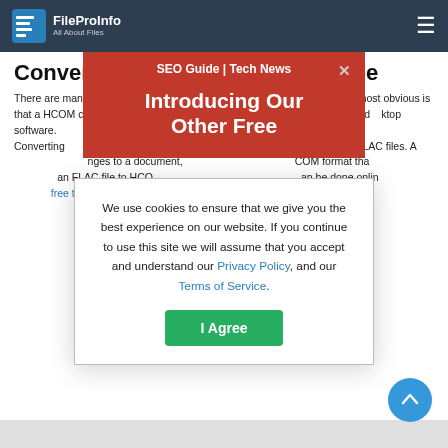FileProInfo All About Files — HCOM Converter
Convert files to hcom online & free
There are many benefits to converting a FLAC file to HCOM. Perhaps the most obvious is that a HCOM can be read by more applications than a FLAC file is limited to desktop software. Converting hcom makes text easier to read, as HCOM files are more than FLAC files. Also, if you make changes to a document, you can save it in the HCOM format that is more secure than an FLAC file to HCOM conversion. The conversion can be done online and free to HCOM converter.
[Figure (screenshot): Red popup overlay with text 'SEO Guide | Tech News' and 'Introducing Our Other Free' with a close X button]
[Figure (screenshot): White cookie consent modal dialog with text about cookies and Privacy Policy, Terms of Service links, and an I Agree button]